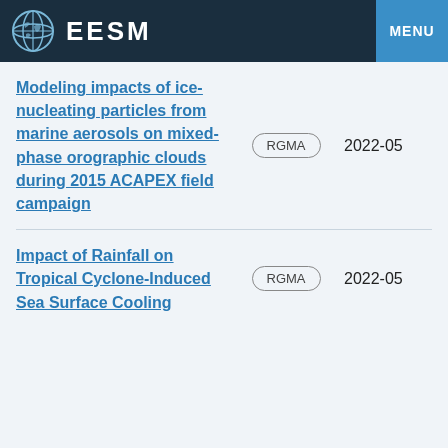EESM  MENU
Modeling impacts of ice-nucleating particles from marine aerosols on mixed-phase orographic clouds during 2015 ACAPEX field campaign
Impact of Rainfall on Tropical Cyclone-Induced Sea Surface Cooling